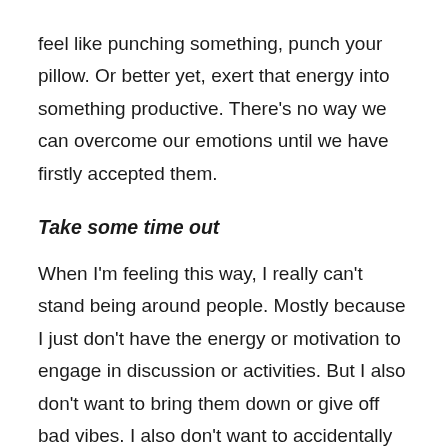feel like punching something, punch your pillow. Or better yet, exert that energy into something productive. There's no way we can overcome our emotions until we have firstly accepted them.
Take some time out
When I'm feeling this way, I really can't stand being around people. Mostly because I just don't have the energy or motivation to engage in discussion or activities. But I also don't want to bring them down or give off bad vibes. I also don't want to accidentally take my issues out on them. I guess maybe a part of me also doesn't want them to see me in this kind of state (when I'm definitely not 'me'